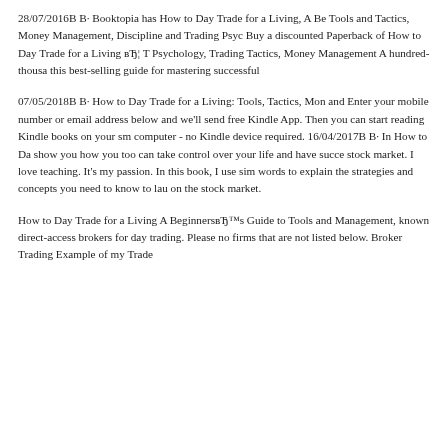28/07/2016В В· Booktopia has How to Day Trade for a Living, A Be Tools and Tactics, Money Management, Discipline and Trading Psyc Buy a discounted Paperback of How to Day Trade for a Living вЂ¦ T Psychology, Trading Tactics, Money Management A hundred-thousa this best-selling guide for mastering successful
07/05/2018В В· How to Day Trade for a Living: Tools, Tactics, Mon and Enter your mobile number or email address below and we'll send free Kindle App. Then you can start reading Kindle books on your sm computer - no Kindle device required. 16/04/2017В В· In How to Da show you how you too can take control over your life and have succe stock market. I love teaching. It's my passion. In this book, I use sim words to explain the strategies and concepts you need to know to lau on the stock market.
How to Day Trade for a Living A BeginnersвЂ™s Guide to Tools and Management, known direct-access brokers for day trading. Please no firms that are not listed below. Broker Trading Example of my Trade